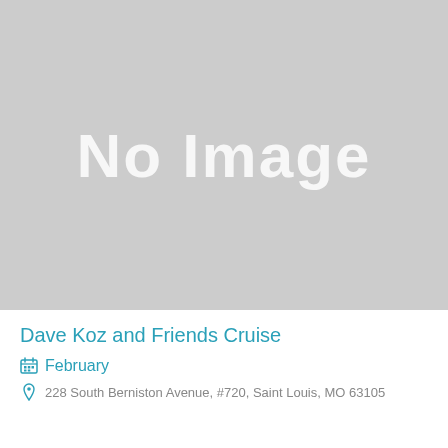[Figure (other): Gray placeholder image with white text reading 'No Image']
Dave Koz and Friends Cruise
February
228 South Berniston Avenue, #720, Saint Louis, MO 63105